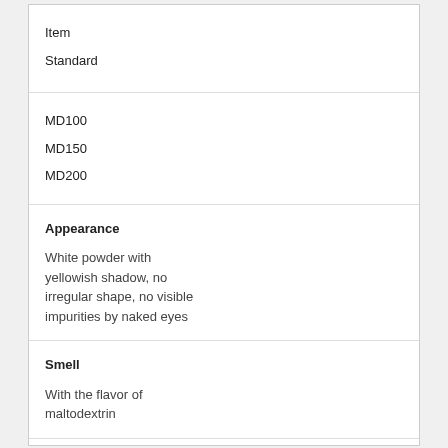| Item | Standard |
| --- | --- |
| MD100
MD150
MD200 | Appearance
White powder with yellowish shadow, no irregular shape, no visible impurities by naked eyes |
|  | Smell
With the flavor of maltodextrin |
|  | Taste |